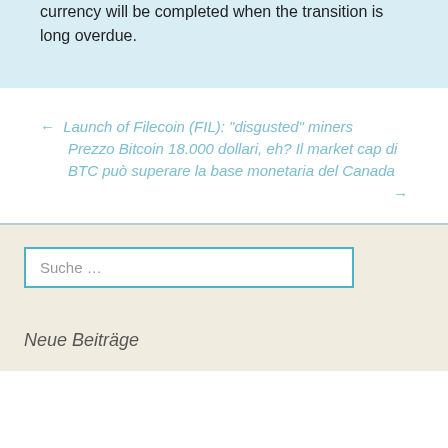currency will be completed when the transition is long overdue.
← Launch of Filecoin (FIL): “disgusted” miners
Prezzo Bitcoin 18.000 dollari, eh? Il market cap di BTC può superare la base monetaria del Canada
→
Suche …
Neue Beiträge